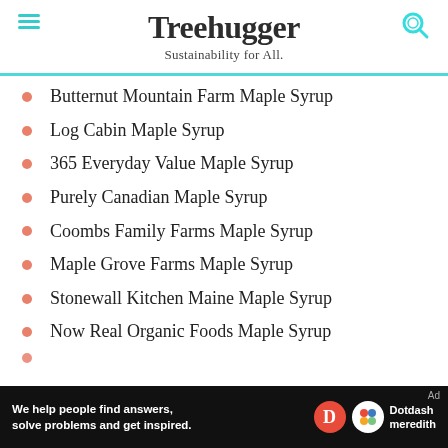Treehugger — Sustainability for All.
Butternut Mountain Farm Maple Syrup
Log Cabin Maple Syrup
365 Everyday Value Maple Syrup
Purely Canadian Maple Syrup
Coombs Family Farms Maple Syrup
Maple Grove Farms Maple Syrup
Stonewall Kitchen Maine Maple Syrup
Now Real Organic Foods Maple Syrup
[Figure (other): Dotdash Meredith advertisement banner — 'We help people find answers, solve problems and get inspired.']